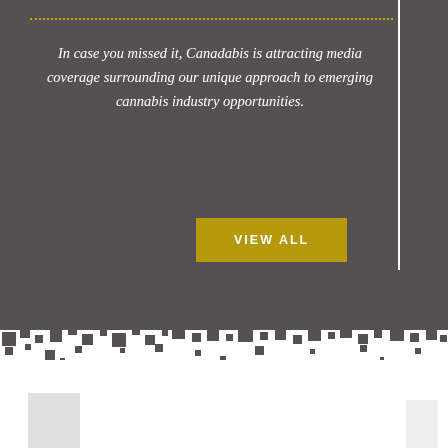In case you missed it, Canadabis is attracting media coverage surrounding our unique approach to emerging cannabis industry opportunities.
[Figure (other): Yellow 'VIEW ALL' button on dark gray background]
[Figure (other): Decorative pixel/square transition pattern between dark gray and white sections, scattered dark squares of varying sizes along the boundary]